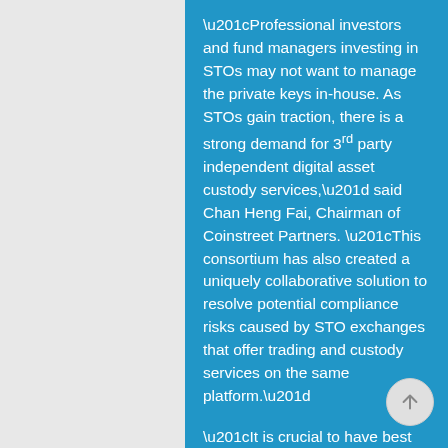“Professional investors and fund managers investing in STOs may not want to manage the private keys in-house. As STOs gain traction, there is a strong demand for 3rd party independent digital asset custody services,” said Chan Heng Fai, Chairman of Coinstreet Partners. “This consortium has also created a uniquely collaborative solution to resolve potential compliance risks caused by STO exchanges that offer trading and custody services on the same platform.”

“It is crucial to have best practices for custody services for digital assets, benchmarked to the